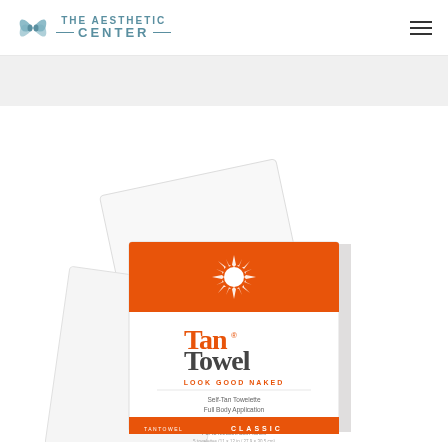The Aesthetic Center
[Figure (photo): TanTowel Classic Self-Tan Towelette product box. White box with orange band at top featuring a sun burst logo. Orange text reads 'TanTowel' with tagline 'LOOK GOOD NAKED'. Box shows text: Self-Tan Towelette, Full Body Application, For Face & Body, For to Medium Skin Tones. Bottom of box reads TANTOWEL CLASSIC. Box is shown open with a white towelette partially pulled out.]